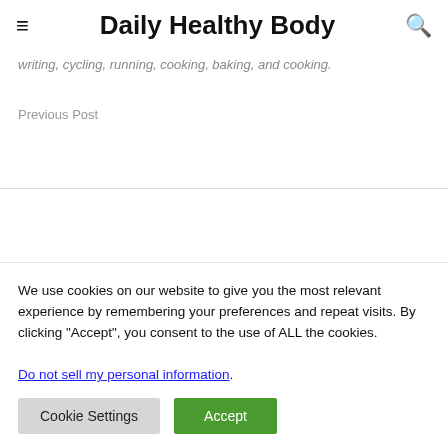Daily Healthy Body
writing, cycling, running, cooking, baking, and cooking.
Previous Post
We use cookies on our website to give you the most relevant experience by remembering your preferences and repeat visits. By clicking “Accept”, you consent to the use of ALL the cookies.
Do not sell my personal information.